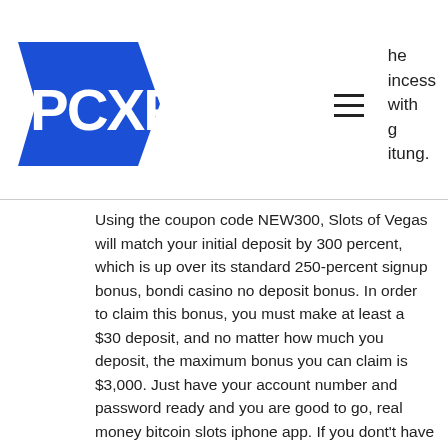[Figure (logo): PCXP logo — white letters PCXP on a blue pentagon/arrow shape]
he
incess
with
g
itung.
Using the coupon code NEW300, Slots of Vegas will match your initial deposit by 300 percent, which is up over its standard 250-percent signup bonus, bondi casino no deposit bonus. In order to claim this bonus, you must make at least a $30 deposit, and no matter how much you deposit, the maximum bonus you can claim is $3,000. Just have your account number and password ready and you are good to go, real money bitcoin slots iphone app. If you dont't have an account, there is a nice big red button for you to sign up for a new account. There are now 1 code, 12 deal, and 1 free delivery promo. Ruby Slots Promo Code - Bonus Promotions Available 2021, casino